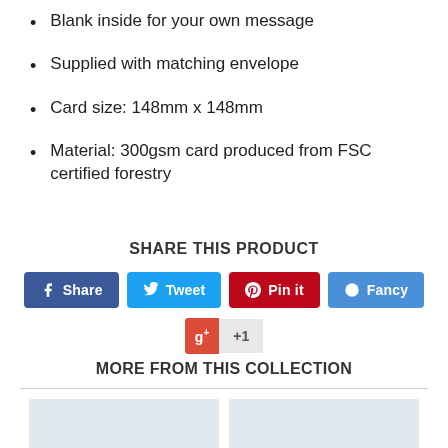Blank inside for your own message
Supplied with matching envelope
Card size: 148mm x 148mm
Material: 300gsm card produced from FSC certified forestry
SHARE THIS PRODUCT
[Figure (infographic): Social share buttons: Share (Facebook, blue), Tweet (Twitter, light blue), Pin it (Pinterest, red), Fancy (blue), and Google+ +1 button]
MORE FROM THIS COLLECTION
[Figure (photo): Two product thumbnail images partially visible at the bottom of the page]